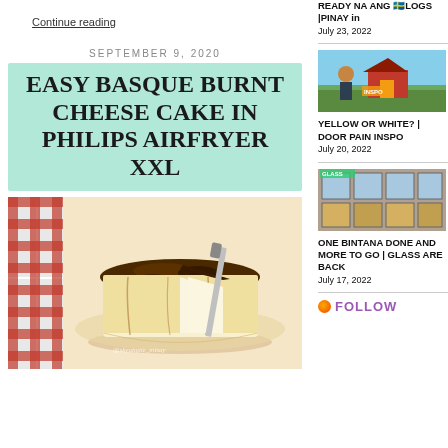Continue reading
SEPTEMBER 9, 2020
EASY BASQUE BURNT CHEESE CAKE IN PHILIPS AIRFRYER XXL
[Figure (photo): Photo of a Basque burnt cheesecake with a slice cut out, placed on parchment paper with a red-checkered cloth beside it. Watermark: @skyutopie_misay]
READY NA ANG 🇸🇪LOGS |PINAY in
July 23, 2022
[Figure (photo): Thumbnail photo of a person near a colorful tiny house/shed with yellow door and red roof]
YELLOW OR WHITE? | DOOR PAIN INSPO
July 20, 2022
[Figure (photo): Thumbnail photo showing glass windows/bins at a store]
ONE BINTANA DONE AND MORE TO GO | GLASS ARE BACK
July 17, 2022
FOLLOW